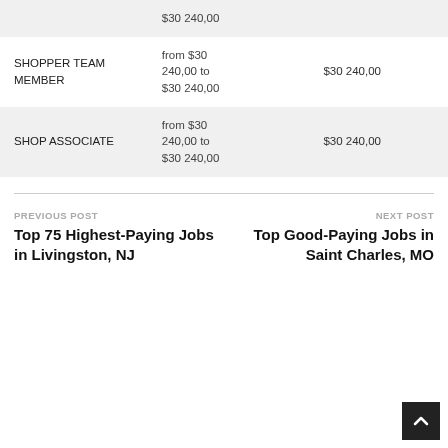| Job Title | Salary Range | Salary |
| --- | --- | --- |
|  | $30 240,00 |  |
| SHOPPER TEAM MEMBER | from $30 240,00 to $30 240,00 | $30 240,00 |
| SHOP ASSOCIATE | from $30 240,00 to $30 240,00 | $30 240,00 |
PREVIOUS POST
Top 75 Highest-Paying Jobs in Livingston, NJ
NEXT POST
Top Good-Paying Jobs in Saint Charles, MO